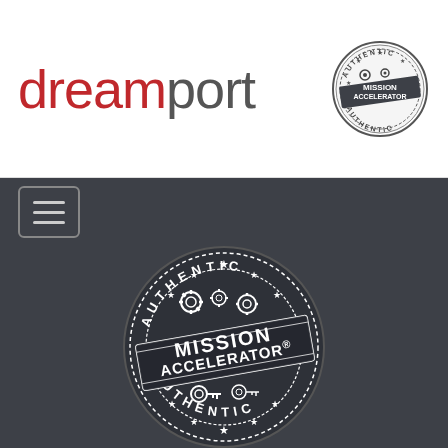[Figure (logo): Dreamport website header with 'dreamport' logo text in red and gray, and a circular Mission Accelerator authentic seal badge on the right]
[Figure (other): Navigation bar with hamburger menu icon]
[Figure (logo): Large circular Mission Accelerator Authentic badge/seal in white on dark gray background, with text 'AUTHENTIC', 'MISSION ACCELERATOR', gear and key icons, and stars]
© 2022 MISI. All Rights Reserved. MISI is a 501(c)4 non-profit organization.